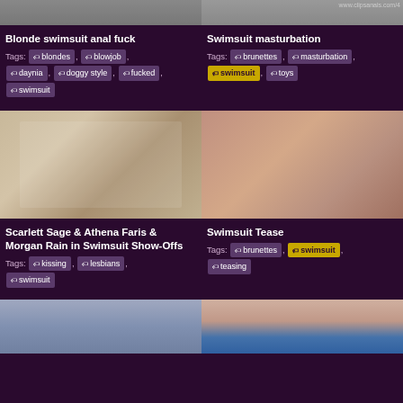[Figure (photo): Thumbnail image top left - partial view]
[Figure (photo): Thumbnail image top right - partial view with watermark www.clipsanals.com/4]
Blonde swimsuit anal fuck
Tags: blondes, blowjob, daynia, doggy style, fucked, swimsuit
Swimsuit masturbation
Tags: brunettes, masturbation, swimsuit, toys
[Figure (photo): Three women in swimsuits on a bed]
[Figure (photo): Woman in black swimsuit posed]
Scarlett Sage & Athena Faris & Morgan Rain in Swimsuit Show-Offs
Tags: kissing, lesbians, swimsuit
Swimsuit Tease
Tags: brunettes, swimsuit, teasing
[Figure (photo): Bottom left thumbnail - locker room scene]
[Figure (photo): Bottom right thumbnail - blue swimsuit]